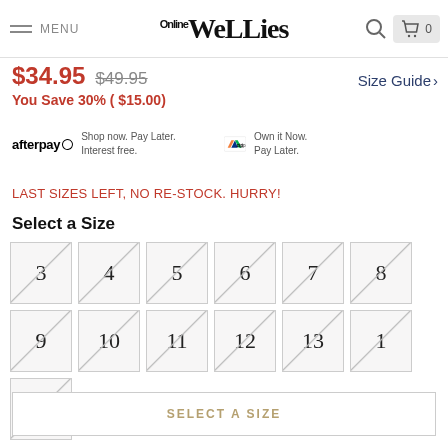MENU | Wellies Online | Cart 0
$34.95  $49.95
You Save 30% ( $15.00)
Size Guide >
afterpay  Shop now. Pay Later. Interest free.   zip pay  Own it Now. Pay Later.
LAST SIZES LEFT, NO RE-STOCK. HURRY!
Select a Size
3  4  5  6  7  8
9  10  11  12  13  1
2
SELECT A SIZE